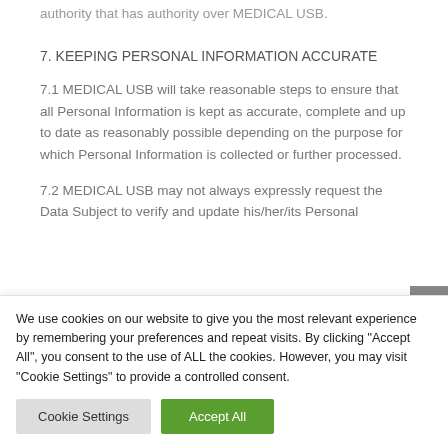authority that has authority over MEDICAL USB.
7. KEEPING PERSONAL INFORMATION ACCURATE
7.1 MEDICAL USB will take reasonable steps to ensure that all Personal Information is kept as accurate, complete and up to date as reasonably possible depending on the purpose for which Personal Information is collected or further processed.
7.2 MEDICAL USB may not always expressly request the Data Subject to verify and update his/her/its Personal
We use cookies on our website to give you the most relevant experience by remembering your preferences and repeat visits. By clicking "Accept All", you consent to the use of ALL the cookies. However, you may visit "Cookie Settings" to provide a controlled consent.